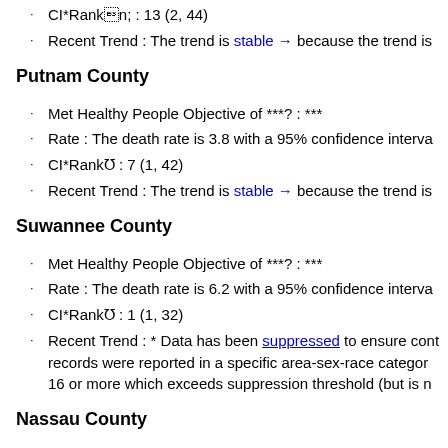CI*Rank m : 13 (2, 44)
Recent Trend : The trend is stable → because the trend is
Putnam County
Met Healthy People Objective of ***? : ***
Rate : The death rate is 3.8 with a 95% confidence interva
CI*Rank m : 7 (1, 42)
Recent Trend : The trend is stable → because the trend is
Suwannee County
Met Healthy People Objective of ***? : ***
Rate : The death rate is 6.2 with a 95% confidence interva
CI*Rank m : 1 (1, 32)
Recent Trend : * Data has been suppressed to ensure cont records were reported in a specific area-sex-race category 16 or more which exceeds suppression threshold (but is n
Nassau County